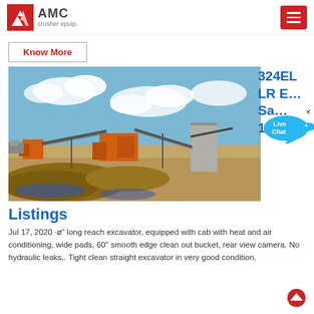AMC crusher epuip.
Know More
[Figure (photo): Outdoor mining/quarry site with orange crusher equipment, conveyor belts, concrete structure, sandy terrain, and blue sky with clouds.]
Listings
Jul 17, 2020 -⌀" long reach excavator, equipped with cab with heat and air conditioning, wide pads, 60" smooth edge clean out bucket, rear view camera. No hydraulic leaks,. Tight clean straight excavator in very good condition.